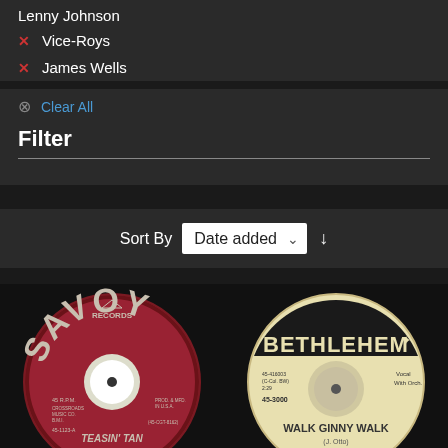Lenny Johnson
Vice-Roys
James Wells
Clear All
Filter
Sort By  Date added
[Figure (photo): Two vinyl 45 RPM records side by side. Left: Savoy Records label, dark red, 'TEASIN' TAN' by Georgie Stevenson, catalog 45-1123-A. Right: Bethlehem Records label, cream/yellow, 'WALK GINNY WALK' by Lenny Johnson, catalog 45-3000, Vocal With Orch.]